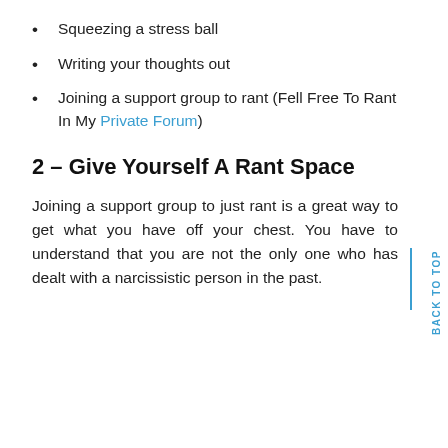Squeezing a stress ball
Writing your thoughts out
Joining a support group to rant (Fell Free To Rant In My Private Forum)
2 – Give Yourself A Rant Space
Joining a support group to just rant is a great way to get what you have off your chest. You have to understand that you are not the only one who has dealt with a narcissistic person in the past.